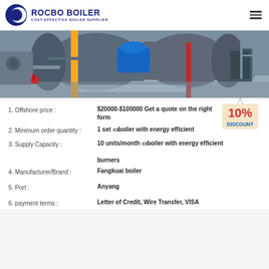[Figure (logo): Rocbo Boiler logo with crescent moon icon and text 'COST-EFFECTIVE BOILER SUPPLIER']
[Figure (photo): Industrial boiler room with large cylindrical boilers, blue motor, yellow pipe, red pipe, and machinery]
1. Offshore price : $20000-$100000 Get a quote on the right form
2. Minimum order quantity : 1 set boiler with energy efficient
3. Supply Capacity : 10 units/month boiler with energy efficient burners
4. Manufacturer/Brand : Fangkuai boiler
5. Port : Anyang
6. payment terms : Letter of Credit, Wire Transfer, VISA